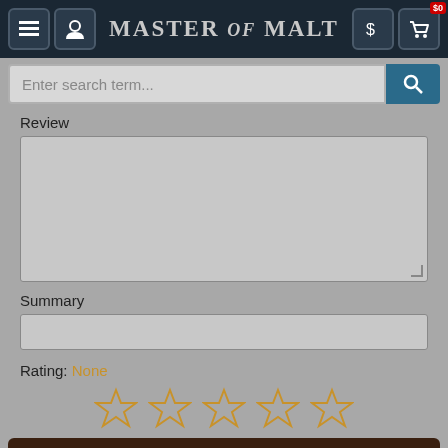Master of Malt
Enter search term...
Review
Summary
Rating: None
Submit »